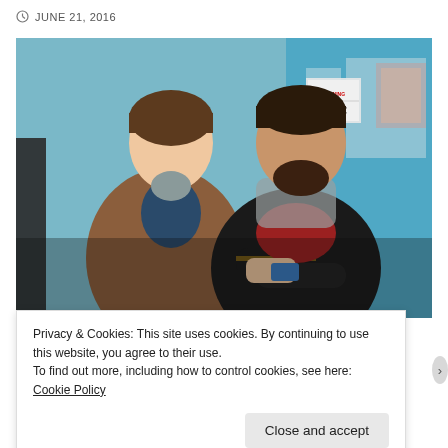JUNE 21, 2016
[Figure (photo): Two young men smiling outside a store with a blue door. One wears a brown jacket and holds a blue card/phone; the other wears a black jacket with arms crossed.]
Privacy & Cookies: This site uses cookies. By continuing to use this website, you agree to their use.
To find out more, including how to control cookies, see here: Cookie Policy
Close and accept